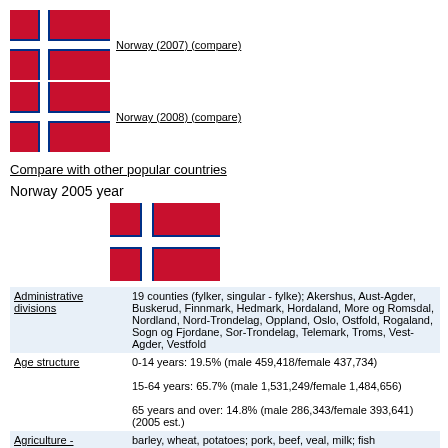[Figure (illustration): Norwegian flag small, associated with Norway (2007) (compare) link]
[Figure (illustration): Norwegian flag small, associated with Norway (2008) (compare) link]
Compare with other popular countries
Norway 2005 year
[Figure (illustration): Norwegian flag medium size]
| Field | Value |
| --- | --- |
| Administrative divisions | 19 counties (fylker, singular - fylke); Akershus, Aust-Agder, Buskerud, Finnmark, Hedmark, Hordaland, More og Romsdal, Nordland, Nord-Trondelag, Oppland, Oslo, Ostfold, Rogaland, Sogn og Fjordane, Sor-Trondelag, Telemark, Troms, Vest-Agder, Vestfold |
| Age structure | 0-14 years: 19.5% (male 459,418/female 437,734)

15-64 years: 65.7% (male 1,531,249/female 1,484,656)

65 years and over: 14.8% (male 286,343/female 393,641) (2005 est.) |
| Agriculture - | barley, wheat, potatoes; pork, beef, veal, milk; fish |